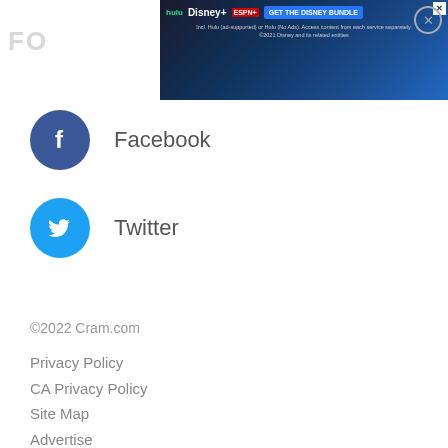[Figure (screenshot): Disney Bundle advertisement banner with Hulu, Disney+, ESPN+ logos and 'GET THE DISNEY BUNDLE' call-to-action button on dark blue gradient background. Fine print: Incl. Hulu (ad-supported) or Hulu (No Ads). Access content from each service separately. ©2021 Disney and its related entities]
[Figure (logo): Facebook logo icon - white 'f' on dark blue circle background]
Facebook
[Figure (logo): Twitter logo icon - white bird on light blue circle background]
Twitter
©2022 Cram.com
Privacy Policy
CA Privacy Policy
Site Map
Advertise
CA Do Not Sell My Personal Information